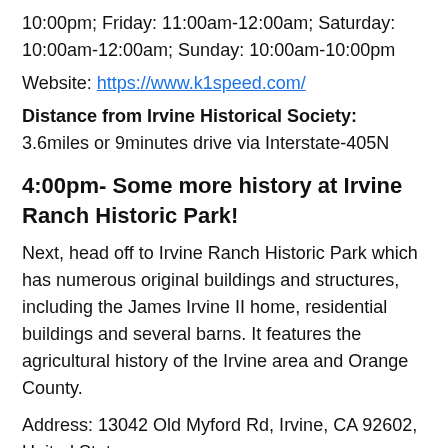10:00pm; Friday: 11:00am-12:00am; Saturday: 10:00am-12:00am; Sunday: 10:00am-10:00pm
Website: https://www.k1speed.com/
Distance from Irvine Historical Society: 3.6miles or 9minutes drive via Interstate-405N
4:00pm- Some more history at Irvine Ranch Historic Park!
Next, head off to Irvine Ranch Historic Park which has numerous original buildings and structures, including the James Irvine II home, residential buildings and several barns. It features the agricultural history of the Irvine area and Orange County.
Address: 13042 Old Myford Rd, Irvine, CA 92602, United States